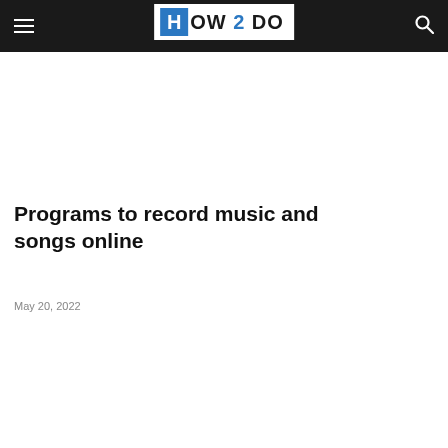HOW 2 DO
Programs to record music and songs online
May 20, 2022